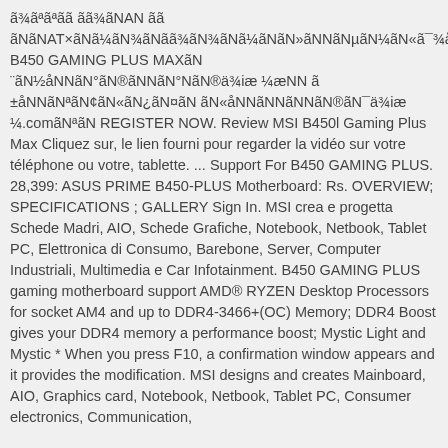ã¾ãªãªãã ãã¾ãNAN ãã ãNãNAT×ãNã¼ãN¾ãNãã¾ãN¾ãNã¼ãNãN»ãNNãNµãN¼ãN«ã¯¾å¿Nã NNMSl B450 GAMING PLUS MAXãN ¨ãN½åNNãN°ãN®ãNNãN°NãN®ä¾iæ ¼æNN ã ±åNNãNªãN¢ãN«ãN¿ãN¤ãN  ãN«åNNãNNãNNãN®ãN¯ä¾iæ ¼.comãNªãN REGISTER NOW. Review MSI B450l Gaming Plus Max Cliquez sur, le lien fourni pour regarder la vidéo sur votre téléphone ou votre, tablette. ... Support For B450 GAMING PLUS. 28,399: ASUS PRIME B450-PLUS Motherboard: Rs. OVERVIEW; SPECIFICATIONS ; GALLERY Sign In. MSI crea e progetta Schede Madri, AIO, Schede Grafiche, Notebook, Netbook, Tablet PC, Elettronica di Consumo, Barebone, Server, Computer Industriali, Multimedia e Car Infotainment. B450 GAMING PLUS gaming motherboard support AMD® RYZEN Desktop Processors for socket AM4 and up to DDR4-3466+(OC) Memory; DDR4 Boost gives your DDR4 memory a performance boost; Mystic Light and Mystic * When you press F10, a confirmation window appears and it provides the modification. MSI designs and creates Mainboard, AIO, Graphics card, Notebook, Netbook, Tablet PC, Consumer electronics, Communication,